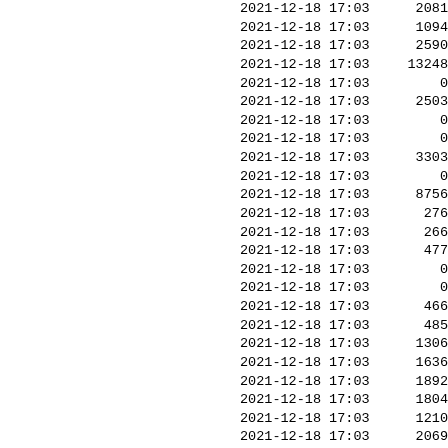| datetime | value |
| --- | --- |
| 2021-12-18 17:03 | 2081 |
| 2021-12-18 17:03 | 1094 |
| 2021-12-18 17:03 | 2590 |
| 2021-12-18 17:03 | 13248 |
| 2021-12-18 17:03 | 0 |
| 2021-12-18 17:03 | 2503 |
| 2021-12-18 17:03 | 0 |
| 2021-12-18 17:03 | 0 |
| 2021-12-18 17:03 | 3303 |
| 2021-12-18 17:03 | 0 |
| 2021-12-18 17:03 | 8756 |
| 2021-12-18 17:03 | 276 |
| 2021-12-18 17:03 | 266 |
| 2021-12-18 17:03 | 477 |
| 2021-12-18 17:03 | 0 |
| 2021-12-18 17:03 | 0 |
| 2021-12-18 17:03 | 466 |
| 2021-12-18 17:03 | 485 |
| 2021-12-18 17:03 | 1306 |
| 2021-12-18 17:03 | 1636 |
| 2021-12-18 17:03 | 1892 |
| 2021-12-18 17:03 | 1804 |
| 2021-12-18 17:03 | 1210 |
| 2021-12-18 17:03 | 2069 |
| 2021-12-18 17:03 | 432 |
| 2021-12-18 17:03 | 7633 |
| 2021-12-18 17:03 | 349 |
| 2021-12-18 17:03 | 679 |
| 2021-12-18 17:03 | 273 |
| 2021-12-18 17:03 | 606 |
| 2021-12-18 17:03 | 2030 |